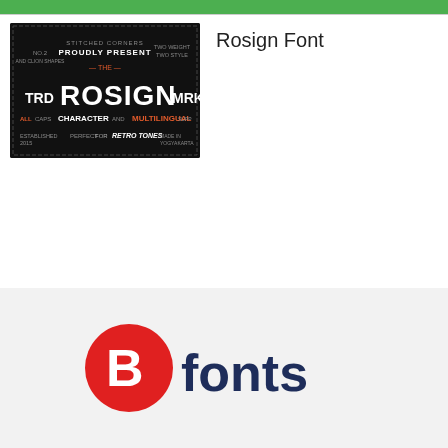[Figure (illustration): Green banner/bar at top of page]
[Figure (illustration): Rosign Font promotional image: dark background with retro-style typography showing TRD ROSIGN MRK, text about two weight two style, all caps character and multilingual, perfect for retro tones, established 2015, made in Yogyakarta]
Rosign Font
[Figure (logo): BB fonts logo: red circle with white B inside, followed by dark navy 'fonts' text]